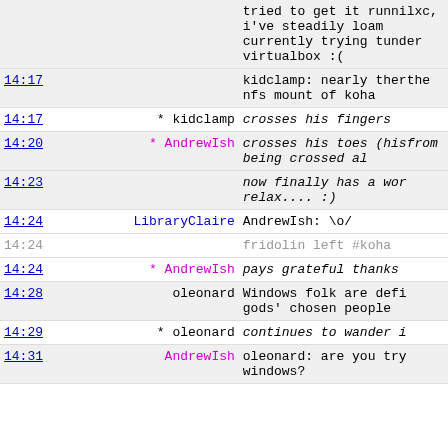| Time | Nick | Message |
| --- | --- | --- |
|  |  | tried to get it runni... lxc, i've steadily lo... am currently trying t... under virtualbox :( |
| 14:17 |  | kidclamp: nearly ther... the nfs mount of koha... |
| 14:17 | * kidclamp | crosses his fingers |
| 14:20 | * AndrewIsh | crosses his toes (his... from being crossed al... |
| 14:23 |  | now finally has a wor... relax.... :) |
| 14:24 | LibraryClaire | AndrewIsh: \o/ |
| 14:24 |  | fridolin left #koha |
| 14:24 | * AndrewIsh | pays grateful thanks ... |
| 14:28 | oleonard | Windows folk are defi... gods' chosen people |
| 14:29 | * oleonard | continues to wander i... |
| 14:31 | AndrewIsh | oleonard: are you try... windows? |